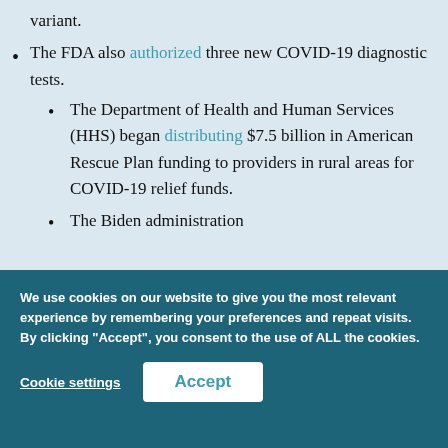variant.
The FDA also authorized three new COVID-19 diagnostic tests.
The Department of Health and Human Services (HHS) began distributing $7.5 billion in American Rescue Plan funding to providers in rural areas for COVID-19 relief funds.
The Biden administration
We use cookies on our website to give you the most relevant experience by remembering your preferences and repeat visits. By clicking “Accept”, you consent to the use of ALL the cookies.
Cookie settings
Accept